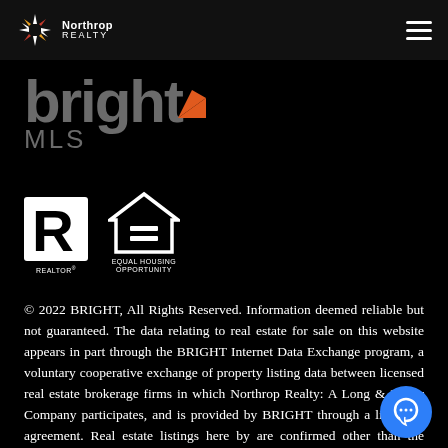[Figure (logo): Northrop Realty logo with starburst icon and hamburger menu in dark header bar]
[Figure (logo): bright MLS logo in large gray and orange text]
[Figure (logo): REALTOR R logo and Equal Housing Opportunity logo in white on black]
© 2022 BRIGHT, All Rights Reserved. Information deemed reliable but not guaranteed. The data relating to real estate for sale on this website appears in part through the BRIGHT Internet Data Exchange program, a voluntary cooperative exchange of property listing data between licensed real estate brokerage firms in which Northrop Realty: A Long & Foster Company participates, and is provided by BRIGHT through a licensing agreement. Real estate listings here by are confirmed other than the Northrop Realty: A Long &